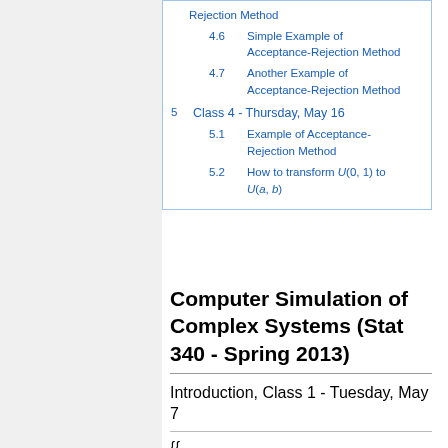4.6  Simple Example of Acceptance-Rejection Method
4.7  Another Example of Acceptance-Rejection Method
5  Class 4 - Thursday, May 16
5.1  Example of Acceptance-Rejection Method
5.2  How to transform U(0,1) to U(a,b)
Computer Simulation of Complex Systems (Stat 340 - Spring 2013)
Introduction, Class 1 - Tuesday, May 7
{{